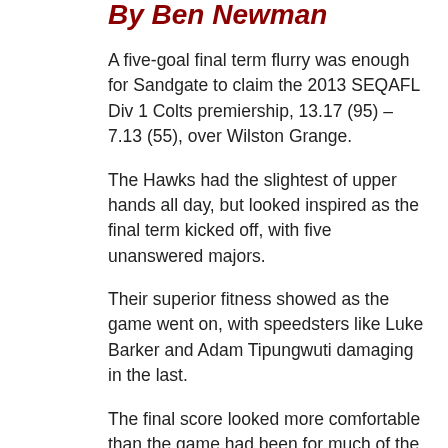By Ben Newman
A five-goal final term flurry was enough for Sandgate to claim the 2013 SEQAFL Div 1 Colts premiership, 13.17 (95) – 7.13 (55), over Wilston Grange.
The Hawks had the slightest of upper hands all day, but looked inspired as the final term kicked off, with five unanswered majors.
Their superior fitness showed as the game went on, with speedsters like Luke Barker and Adam Tipungwuti damaging in the last.
The final score looked more comfortable than the game had been for much of the day, with both sides having opportunities to get on top
It was a tight first quarter at Giffin Park, and the Gorillas set the bar high from the get go with a spectacular boundary line goal from Jimmy Gotts